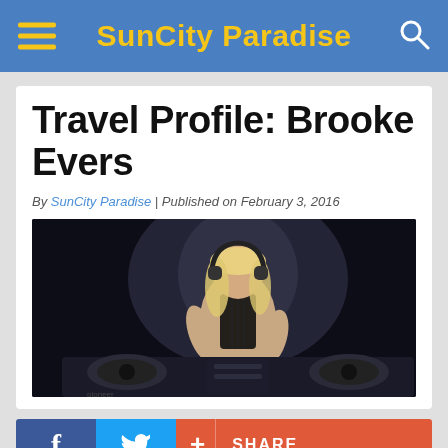SunCity Paradise
Travel Profile: Brooke Evers
By SunCity Paradise | Published on February 3, 2016
[Figure (photo): Blonde female DJ wearing headphones, working DJ turntables in a dark club setting with dramatic lighting]
f  [Facebook share]  [Twitter share]  + SHARE